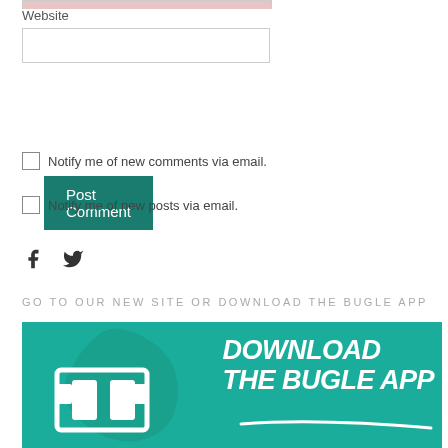Website
[Figure (screenshot): Website input field (partially visible pink/filled field at top, then empty white input box below)]
[Figure (screenshot): Post Comment button in teal/dark green color]
Notify me of new comments via email.
Notify me of new posts via email.
[Figure (illustration): Facebook and Twitter social media icons]
GO TO OUR NEW SITE OR DOWNLOAD THE BUGLE APP
[Figure (infographic): Teal banner with Bugle app logo on left and 'DOWNLOAD THE BUGLE APP' text on right in white italic bold uppercase font]